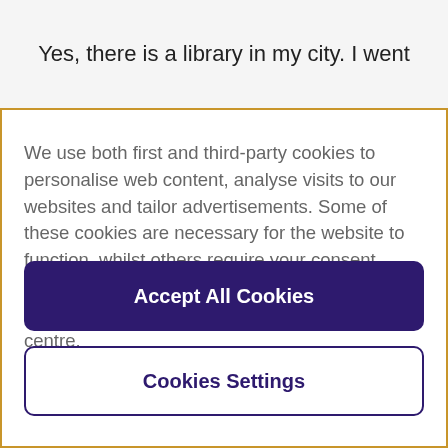Yes, there is a library in my city. I went
We use both first and third-party cookies to personalise web content, analyse visits to our websites and tailor advertisements. Some of these cookies are necessary for the website to function, whilst others require your consent. More detail can be found in our cookie policy and you can tailor your choices in the preference centre.
Accept All Cookies
Cookies Settings